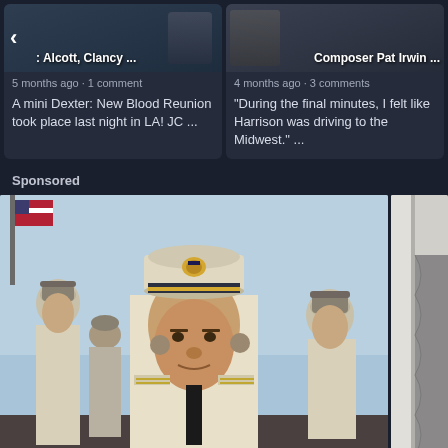[Figure (screenshot): Left card thumbnail: dark background with back arrow and person. Card title: Alcott, Clancy ...]
5 months ago • 1 comment
A mini Dexter: New Blood Reunion took place last night in LA! JC ...
[Figure (screenshot): Right card thumbnail: dark background with person. Card title: Composer Pat Irwin ...]
4 months ago • 3 comments
"During the final minutes, I felt like Harrison was driving to the Midwest." ...
Sponsored
[Figure (photo): Main sponsored image: Military/naval officers in white dress uniforms, center figure is a senior officer wearing a white peaked cap with naval insignia, others in background. American flag visible top left. Classic film still appearance.]
[Figure (photo): Side sponsored image: partially visible, appears to show a building or wall with grey fabric/curtain.]